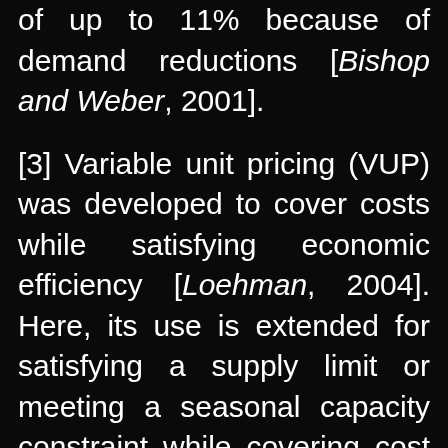of up to 11% because of demand reductions [Bishop and Weber, 2001].
[3] Variable unit pricing (VUP) was developed to cover costs while satisfying economic efficiency [Loehman, 2004]. Here, its use is extended for satisfying a supply limit or meeting a seasonal capacity constraint while covering cost and satisfying economic efficiency. VUP can also achieve cost recovery for long-term investments for